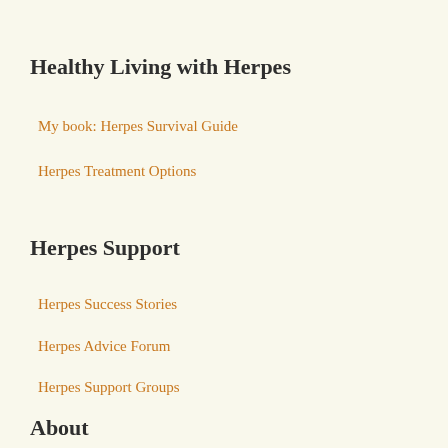Healthy Living with Herpes
My book: Herpes Survival Guide
Herpes Treatment Options
Herpes Support
Herpes Success Stories
Herpes Advice Forum
Herpes Support Groups
About